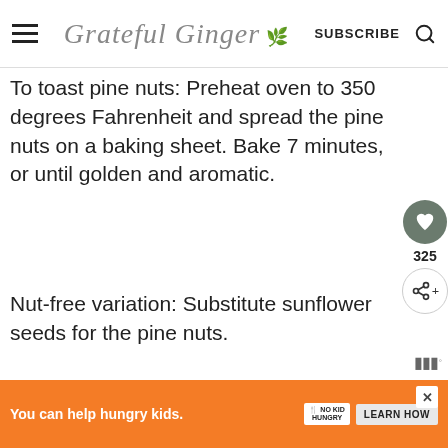Grateful Ginger — SUBSCRIBE
To toast pine nuts: Preheat oven to 350 degrees Fahrenheit and spread the pine nuts on a baking sheet. Bake 7 minutes, or until golden and aromatic.
Nut-free variation: Substitute sunflower seeds for the pine nuts.
[Figure (logo): Instagram logo icon — rounded square with camera outline]
Tried this recipe? Tag me on
You can help hungry kids. NO KID HUNGRY LEARN HOW